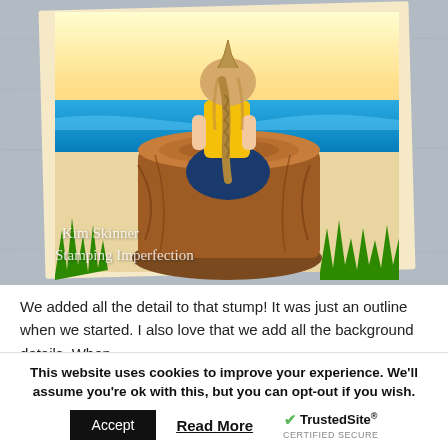[Figure (illustration): A colored pencil illustration on card stock showing a girl with a long braided bun, wearing a yellow top and blue skirt, sitting on a tree stump. Background shows ocean, sky, sandy beach, and green grass in foreground. The card is photographed on a gray wood-grain surface. Watermark reads 'Kim Skinner' and 'Stamping Imperfection'.]
We added all the detail to that stump!  It was just an outline when we started.  I also love that we add all the background details. When
This website uses cookies to improve your experience. We'll assume you're ok with this, but you can opt-out if you wish.